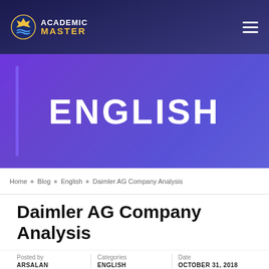ACADEMIC MASTER
ENGLISH
Home · Blog · English · Daimler AG Company Analysis
Daimler AG Company Analysis
Posted by ARSALAN
Categories ENGLISH
Date OCTOBER 31, 2018